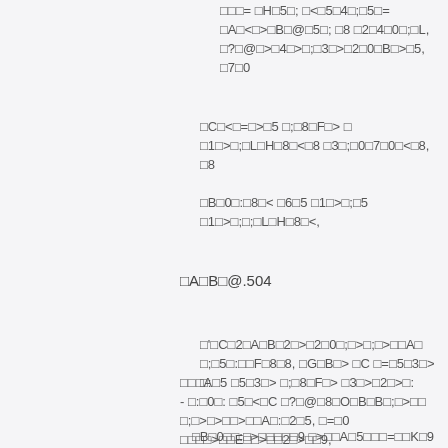□□□= □H□5□; □<□5□4□;□5□=□A□<□>□B□@□5□; □8 □2□4□0□;□L, □?□@□>□4□>□;□3□>□2□0□B□>□5, □7□0
□C□<□=□>□5 □;□8□F□> □ □1□>□;□L□H□8□<□8 □3□;□0□7□0□<□8, □8
□B□0□:□8□< □6□5 □1□>□;□;□L□H□8□<,
□A□B□@.504
□'□C□2□A□B□2□>□2□0□□;□>□□A□ □;□5□:□□F□8□8, □G□B□> □C □=□5□3□> □:
□□□A□5 □5□3□> □;□8□F□> □3□>□2□>□: - □:□0□: □5□<□C □?□@□8□O□B□B□;□>□ □;□>□>□□>□□A□:□2□5, □=□0 □□□□>□□E□□>□□2□>□□9, □F□0□@□□A□B□A□B□5□□□=□□□>□□□□ □B□>□□□>□□ □:□□>□□□□A□B□□□□o□□□□H□□5□, □G□0□B□□5□□□A□B□□□□□B□@□□□□□>□□□□4□□0
□B□0□□:□□>□□>□□□□□□□□9 □>□□□□A□□□□□□5□□□□□□=□□□□K□□9